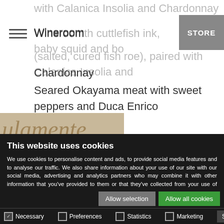Wineroom | STORE
with Calanica Insolia and Chardonnay
with cuttlefish ink, baby squid and bottarga (salted, cured fish roe), paired with Calanica Insolia and Chardonnay
Seared Okayama meat with sweet peppers and Duca Enrico
[Figure (photo): Partial view of a beige/tan background with stylized italic text reading 'ulamente']
This website uses cookies
We use cookies to personalise content and ads, to provide social media features and to analyse our traffic. We also share information about your use of our site with our social media, advertising and analytics partners who may combine it with other information that you've provided to them or that they've collected from your use of their services. You consent to our cookies if you continue to use our website.
Allow selection | Allow all cookies
☑ Necessary  ☐ Preferences  ☐ Statistics  ☐ Marketing  Settings ▾